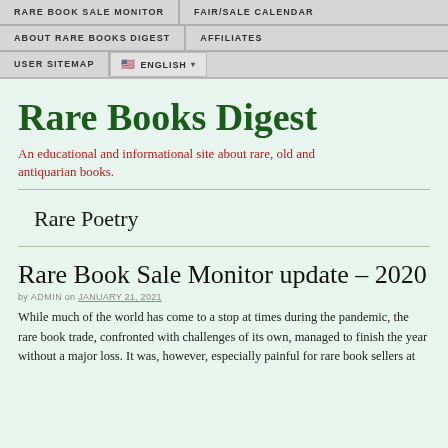RARE BOOK SALE MONITOR | FAIR/SALE CALENDAR | ABOUT RARE BOOKS DIGEST | AFFILIATES | USER SITEMAP | ENGLISH
Rare Books Digest
An educational and informational site about rare, old and antiquarian books.
Rare Poetry
Rare Book Sale Monitor update – 2020
by ADMIN on JANUARY 21, 2021
While much of the world has come to a stop at times during the pandemic, the rare book trade, confronted with challenges of its own, managed to finish the year without a major loss. It was, however, especially painful for rare book sellers at